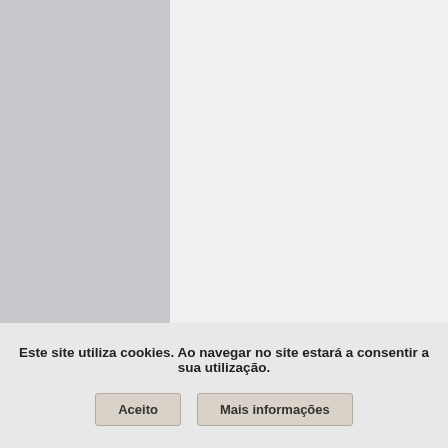without prescription
• purchase torsemide hypertension fast hawaii During checkout your Canadian pharmacy will ask you to join or you could
Este site utiliza cookies. Ao navegar no site estará a consentir a sua utilização.
Aceito   Mais informações